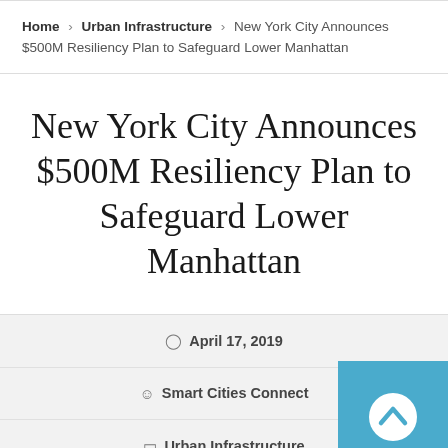Home > Urban Infrastructure > New York City Announces $500M Resiliency Plan to Safeguard Lower Manhattan
New York City Announces $500M Resiliency Plan to Safeguard Lower Manhattan
April 17, 2019
Smart Cities Connect
Urban Infrastructure